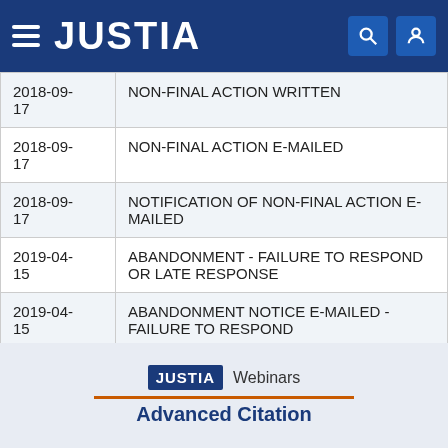JUSTIA
| Date | Action |
| --- | --- |
| 2018-09-17 | NON-FINAL ACTION WRITTEN |
| 2018-09-17 | NON-FINAL ACTION E-MAILED |
| 2018-09-17 | NOTIFICATION OF NON-FINAL ACTION E-MAILED |
| 2019-04-15 | ABANDONMENT - FAILURE TO RESPOND OR LATE RESPONSE |
| 2019-04-15 | ABANDONMENT NOTICE E-MAILED - FAILURE TO RESPOND |
[Figure (logo): JUSTIA Webinars logo and Advanced Citation section footer]
Advanced Citation